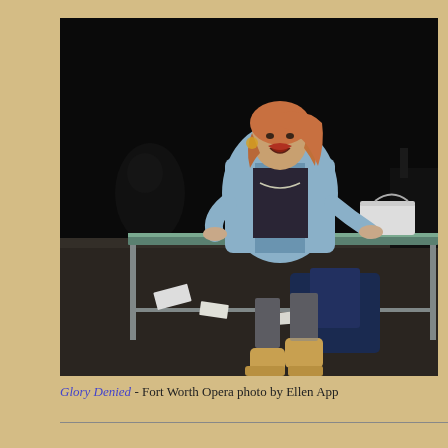[Figure (photo): A woman in a light blue jacket leaning over a green-topped desk/table on a dark stage. She appears to be performing in an opera or theatrical production. There are papers scattered on the floor and a bag visible on the desk. Other performers are visible in the darkened background.]
Glory Denied - Fort Worth Opera photo by Ellen App